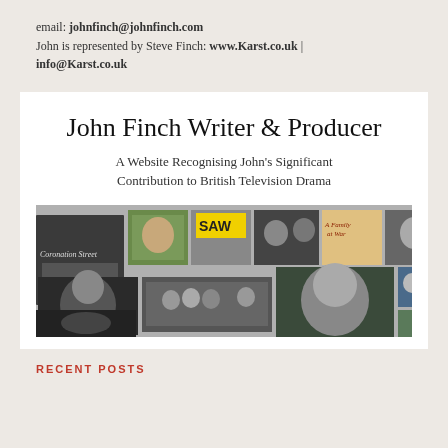email: johnfinch@johnfinch.com
John is represented by Steve Finch: www.Karst.co.uk | info@Karst.co.uk
John Finch Writer & Producer
A Website Recognising John's Significant Contribution to British Television Drama
[Figure (photo): A collage of multiple black and white and colour images related to John Finch's TV drama work, including cast photos, show titles, and production stills.]
RECENT POSTS